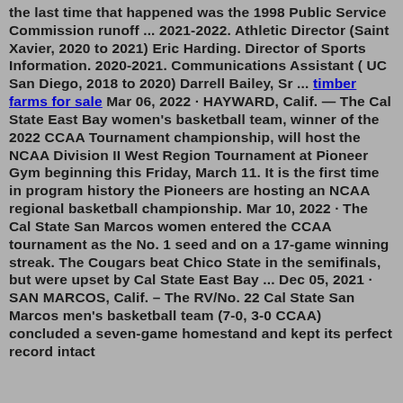the last time that happened was the 1998 Public Service Commission runoff ... 2021-2022. Athletic Director (Saint Xavier, 2020 to 2021) Eric Harding. Director of Sports Information. 2020-2021. Communications Assistant ( UC San Diego, 2018 to 2020) Darrell Bailey, Sr ... timber farms for sale Mar 06, 2022 · HAYWARD, Calif. — The Cal State East Bay women's basketball team, winner of the 2022 CCAA Tournament championship, will host the NCAA Division II West Region Tournament at Pioneer Gym beginning this Friday, March 11. It is the first time in program history the Pioneers are hosting an NCAA regional basketball championship. Mar 10, 2022 · The Cal State San Marcos women entered the CCAA tournament as the No. 1 seed and on a 17-game winning streak. The Cougars beat Chico State in the semifinals, but were upset by Cal State East Bay ... Dec 05, 2021 · SAN MARCOS, Calif. – The RV/No. 22 Cal State San Marcos men's basketball team (7-0, 3-0 CCAA) concluded a seven-game homestand and kept its perfect record intact